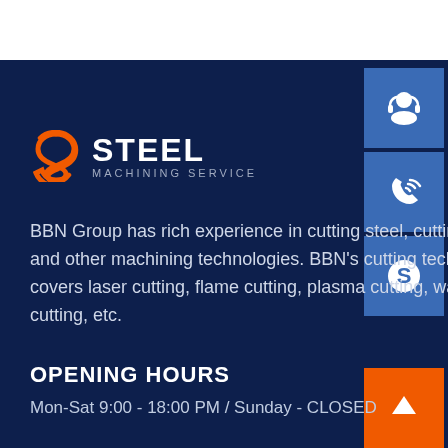[Figure (logo): S Steel Machining Service logo with orange S spiral icon and white text STEEL, subtitle MACHINING SERVICE]
BBN Group has rich experience in cutting steel, cutting and other machining technologies. BBN's cutting tech covers laser cutting, flame cutting, plasma cutting, water cutting, etc.
OPENING HOURS
Mon-Sat 9:00 - 18:00 PM / Sunday - CLOSED
[Figure (infographic): Blue square icon with headset/customer support symbol]
[Figure (infographic): Blue square icon with phone/call symbol]
[Figure (infographic): Blue square icon with Skype symbol]
[Figure (infographic): Orange square icon with up arrow symbol]